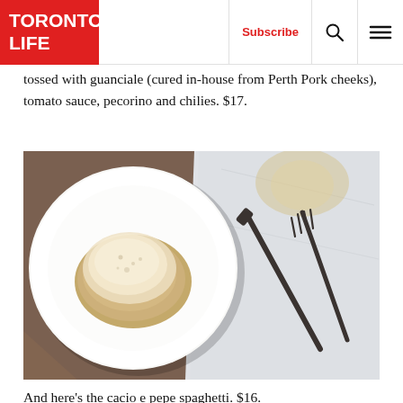Toronto Life | Subscribe
tossed with guanciale (cured in-house from Perth Pork cheeks), tomato sauce, pecorino and chilies. $17.
[Figure (photo): Overhead shot of a plate of cacio e pepe spaghetti with cheese on top, beside a white napkin with crossed dark cutlery, and a wine glass in the upper right.]
And here's the cacio e pepe spaghetti. $16.